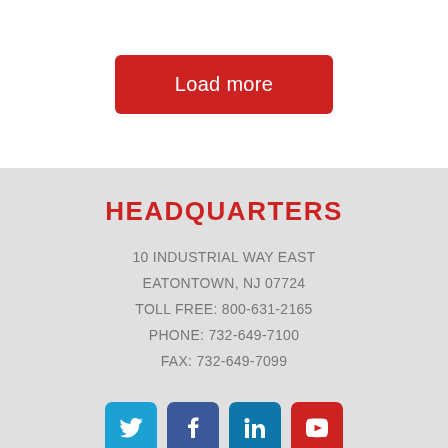Load more
HEADQUARTERS
10 INDUSTRIAL WAY EAST
EATONTOWN, NJ 07724
TOLL FREE: 800-631-2165
PHONE: 732-649-7100
FAX: 732-649-7099
[Figure (other): Social media icons: Twitter, Facebook, LinkedIn, YouTube]